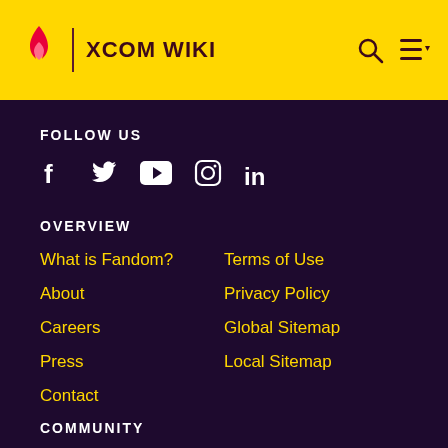XCOM WIKI
FOLLOW US
[Figure (other): Social media icons: Facebook, Twitter, YouTube, Instagram, LinkedIn]
OVERVIEW
What is Fandom?
Terms of Use
About
Privacy Policy
Careers
Global Sitemap
Press
Local Sitemap
Contact
COMMUNITY